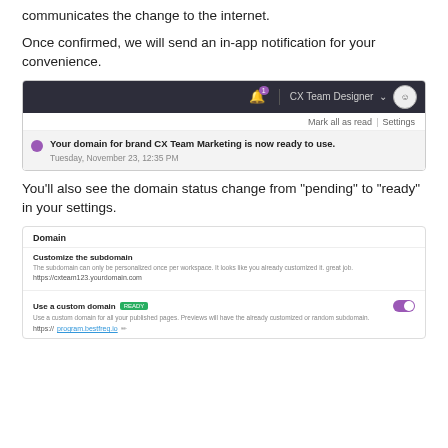communicates the change to the internet.
Once confirmed, we will send an in-app notification for your convenience.
[Figure (screenshot): App notification dropdown showing: Mark all as read | Settings. A notification item with purple dot reads: 'Your domain for brand CX Team Marketing is now ready to use.' Timestamp: Tuesday, November 23, 12:35 PM]
You'll also see the domain status change from "pending" to "ready" in your settings.
[Figure (screenshot): Domain settings panel showing: Domain header, Customize the subdomain section with URL, and Use a custom domain section with READY badge and toggle switch enabled (purple).]